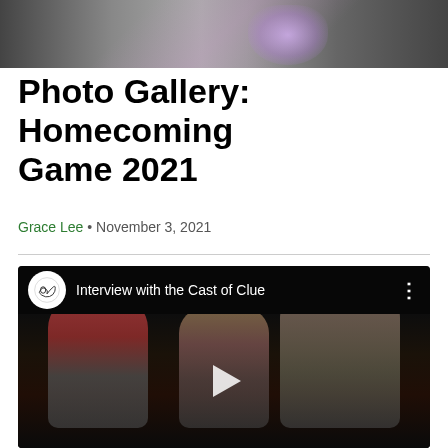[Figure (photo): Top portion of a homecoming photo showing people in formal attire, one wearing a sparkly dress]
Photo Gallery: Homecoming Game 2021
Grace Lee • November 3, 2021
[Figure (screenshot): YouTube video thumbnail titled 'Interview with the Cast of Clue' showing several people seated in a dark setting with a play button in the center]